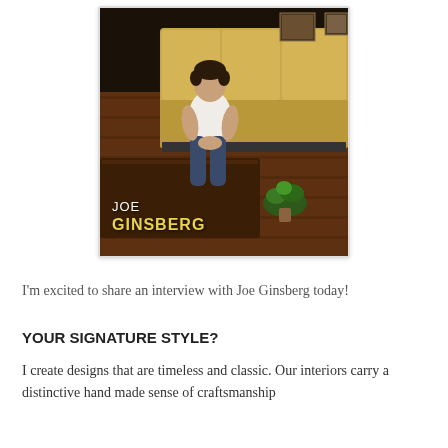[Figure (photo): Photo of Joe Ginsberg sitting on a yellow/tan sectional sofa on a dark wood floor, with a coffee table and green plant in view. Text overlay reads 'JOE GINSBERG' in white/yellow.]
I'm excited to share an interview with Joe Ginsberg today!
YOUR SIGNATURE STYLE?
I create designs that are timeless and classic. Our interiors carry a distinctive hand made sense of craftsmanship